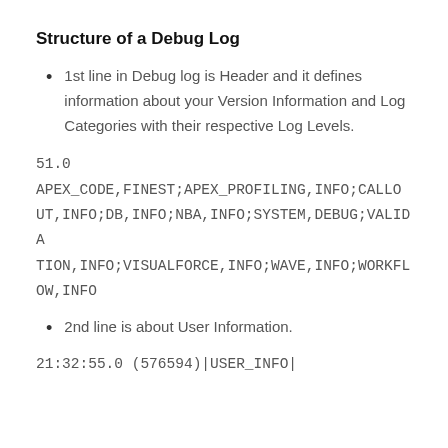Structure of a Debug Log
1st line in Debug log is Header and it defines information about your Version Information and Log Categories with their respective Log Levels.
51.0
APEX_CODE,FINEST;APEX_PROFILING,INFO;CALLOUT,INFO;DB,INFO;NBA,INFO;SYSTEM,DEBUG;VALIDATION,INFO;VISUALFORCE,INFO;WAVE,INFO;WORKFLOW,INFO
2nd line is about User Information.
21:32:55.0 (576594)|USER_INFO|